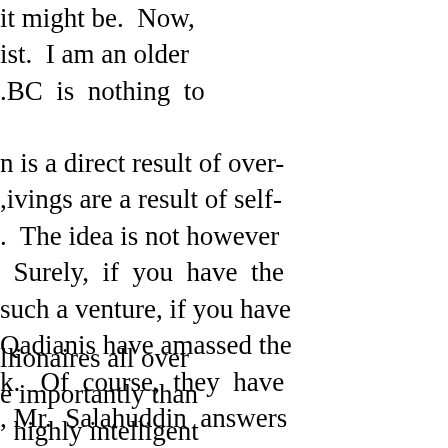it might be.  Now, ist.  I am an older .BC is nothing to
n is a direct result of over- ,ivings are a result of self- .  The idea is not however   Surely, if you have the such a venture, if you have Qadianis have amassed the k.  Of course, they have , Mr. Salahuddin answers
llionaires all over e importantly than   highly intelligent etc.  Naturally, we is just a business his and/or forming